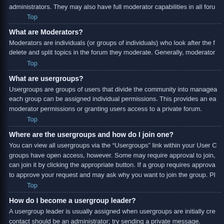administrators. They may also have full moderator capabilities in all foru
Top
What are Moderators?
Moderators are individuals (or groups of individuals) who look after the f delete and split topics in the forum they moderate. Generally, moderator
Top
What are usergroups?
Usergroups are groups of users that divide the community into managea each group can be assigned individual permissions. This provides an ea moderator permissions or granting users access to a private forum.
Top
Where are the usergroups and how do I join one?
You can view all usergroups via the “Usergroups” link within your User C groups have open access, however. Some may require approval to join, can join it by clicking the appropriate button. If a group requires approva to approve your request and may ask why you want to join the group. Pl
Top
How do I become a usergroup leader?
A usergroup leader is usually assigned when usergroups are initially cre contact should be an administrator; try sending a private message.
Top